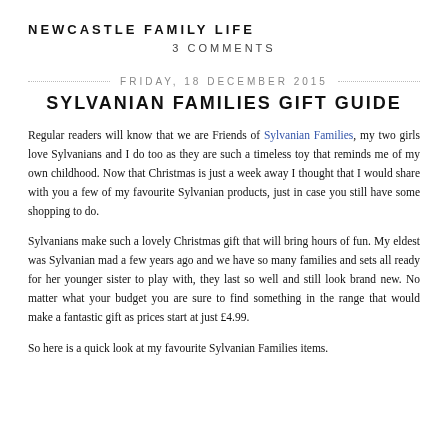NEWCASTLE FAMILY LIFE
3 COMMENTS
FRIDAY, 18 DECEMBER 2015
SYLVANIAN FAMILIES GIFT GUIDE
Regular readers will know that we are Friends of Sylvanian Families, my two girls love Sylvanians and I do too as they are such a timeless toy that reminds me of my own childhood. Now that Christmas is just a week away I thought that I would share with you a few of my favourite Sylvanian products, just in case you still have some shopping to do.
Sylvanians make such a lovely Christmas gift that will bring hours of fun. My eldest was Sylvanian mad a few years ago and we have so many families and sets all ready for her younger sister to play with, they last so well and still look brand new. No matter what your budget you are sure to find something in the range that would make a fantastic gift as prices start at just £4.99.
So here is a quick look at my favourite Sylvanian Families items.